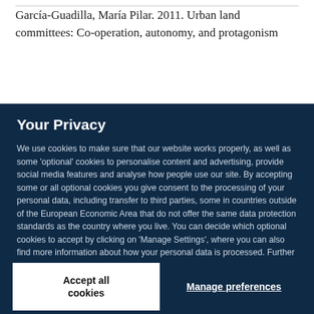García-Guadilla, María Pilar. 2011. Urban land committees: Co-operation, autonomy, and protagonism
Your Privacy
We use cookies to make sure that our website works properly, as well as some 'optional' cookies to personalise content and advertising, provide social media features and analyse how people use our site. By accepting some or all optional cookies you give consent to the processing of your personal data, including transfer to third parties, some in countries outside of the European Economic Area that do not offer the same data protection standards as the country where you live. You can decide which optional cookies to accept by clicking on 'Manage Settings', where you can also find more information about how your personal data is processed. Further information can be found in our privacy policy.
Accept all cookies
Manage preferences